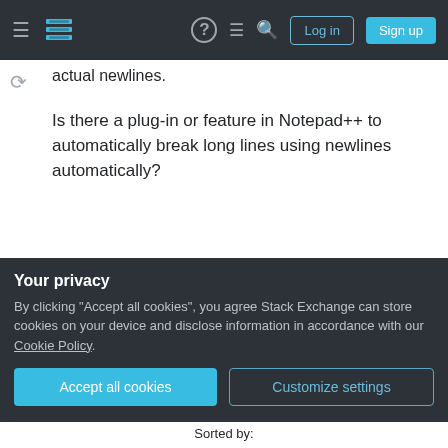Stack Exchange navigation bar with Log in and Sign up buttons
actual newlines.
Is there a plug-in or feature in Notepad++ to automatically break long lines using newlines automatically?
notepad++
word-wrap
Share
Improve this question
Follow
edited Dec 4, 2014 at 16:26
Excellll
12.5k ● 11 ● 50 ● 78
Your privacy
By clicking "Accept all cookies", you agree Stack Exchange can store cookies on your device and disclose information in accordance with our Cookie Policy.
Accept all cookies
Customize settings
Sorted by: